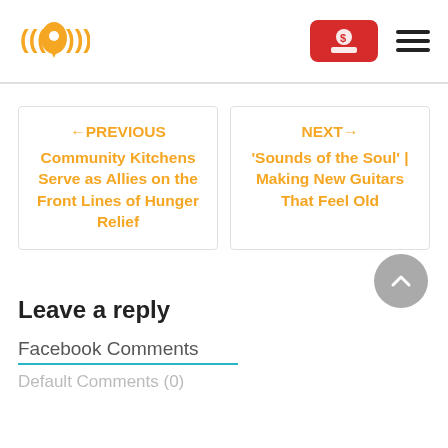[Figure (logo): Orange location pin with sound wave arcs logo]
[Figure (other): Red donate button with person/dollar icon and hamburger menu]
←PREVIOUS Community Kitchens Serve as Allies on the Front Lines of Hunger Relief
NEXT→ 'Sounds of the Soul' | Making New Guitars That Feel Old
Leave a reply
Facebook Comments
Default Comments (0)